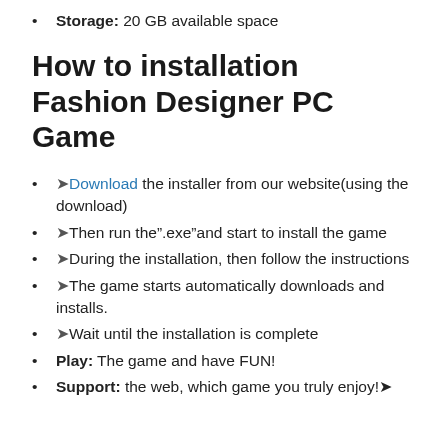Storage: 20 GB available space
How to installation Fashion Designer PC Game
Download the installer from our website(using the download)
Then run the".exe"and start to install the game
During the installation, then follow the instructions
The game starts automatically downloads and installs.
Wait until the installation is complete
Play: The game and have FUN!
Support: the web, which game you truly enjoy!